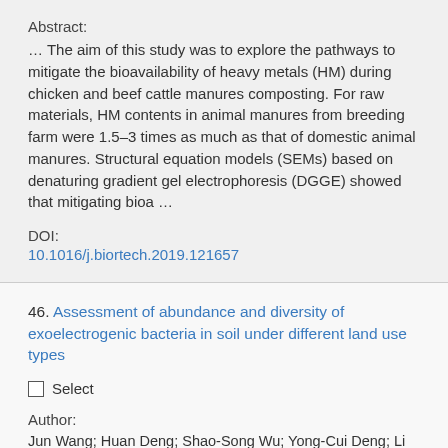Abstract:
… The aim of this study was to explore the pathways to mitigate the bioavailability of heavy metals (HM) during chicken and beef cattle manures composting. For raw materials, HM contents in animal manures from breeding farm were 1.5–3 times as much as that of domestic animal manures. Structural equation models (SEMs) based on denaturing gradient gel electrophoresis (DGGE) showed that mitigating bioa …
DOI:
10.1016/j.biortech.2019.121657
46. Assessment of abundance and diversity of exoelectrogenic bacteria in soil under different land use types
Select
Author:
Jun Wang; Huan Deng; Shao-Song Wu; Yong-Cui Deng; Li Liu;